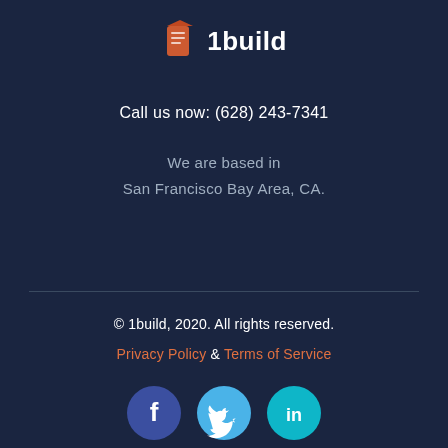[Figure (logo): 1build company logo with orange building icon and white text '1build']
Call us now: (628) 243-7341
We are based in
San Francisco Bay Area, CA.
© 1build, 2020. All rights reserved.
Privacy Policy & Terms of Service
[Figure (illustration): Social media icons: Facebook (dark blue circle with 'f'), Twitter (light blue circle with bird), LinkedIn (teal circle with 'in')]